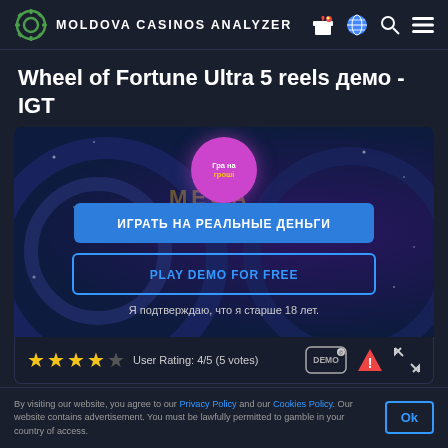MOLDOVA CASINOS ANALYZER
Wheel of Fortune Ultra 5 reels демо - IGT
[Figure (screenshot): Game preview overlay with pink play button, blue 'ИГРАТЬ НА РЕАЛЬНЫЕ ДЕНЬГИ' button, 'PLAY DEMO FOR FREE' outline button, and age confirmation text on dark blue background with wheel of fortune imagery]
User Rating: 4/5 (5 votes)
By visiting our website, you agree to our Privacy Policy and our Cookies Policy. Our website contains advertisement. You must be lawfully permitted to gamble in your country of access.